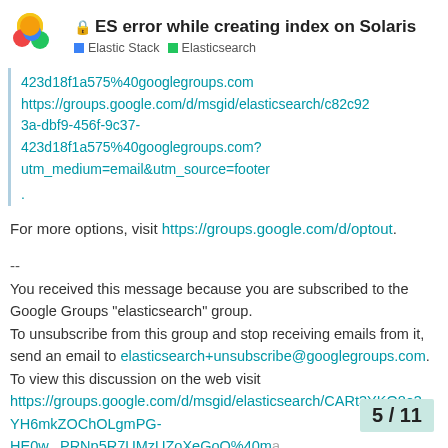ES error while creating index on Solaris | Elastic Stack | Elasticsearch
423d18f1a575%40googlegroups.com
https://groups.google.com/d/msgid/elasticsearch/c82c923a-dbf9-456f-9c37-423d18f1a575%40googlegroups.com?utm_medium=email&utm_source=footer
.
For more options, visit https://groups.google.com/d/optout.
--
You received this message because you are subscribed to the Google Groups "elasticsearch" group.
To unsubscribe from this group and stop receiving emails from it, send an email to elasticsearch+unsubscribe@googlegroups.com.
To view this discussion on the web visit https://groups.google.com/d/msgid/elasticsearch/CARt3YKO8e3YH6mkZOChOLgmPG-HE0w...PRNp5R7UMzUZoXeGoQ%40ma
5 / 11